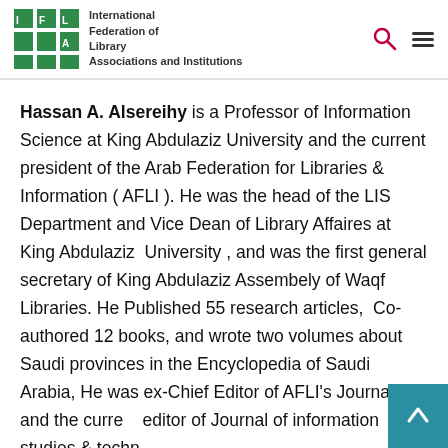IFLA — International Federation of Library Associations and Institutions
Hassan A. Alsereihy is a Professor of Information Science at King Abdulaziz University and the current president of the Arab Federation for Libraries & Information ( AFLI ). He was the head of the LIS Department and Vice Dean of Library Affaires at King Abdulaziz  University , and was the first general secretary of King Abdulaziz Assembely of Waqf Libraries. He Published 55 research articles,  Co-authored 12 books, and wrote two volumes about Saudi provinces in the Encyclopedia of Saudi Arabia, He was ex-Chief Editor of AFLI's Journal, and the current editor of Journal of information studies & techno…